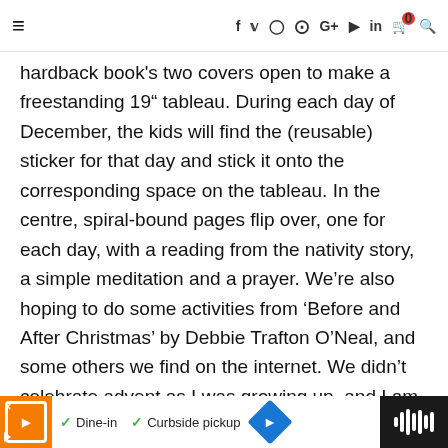≡  f  y  ⊙  ⊕  G+  ▶  in  🛒⁰  🔍
hardback book's two covers open to make a freestanding 19" tableau. During each day of December, the kids will find the (reusable) sticker for that day and stick it onto the corresponding space on the tableau. In the centre, spiral-bound pages flip over, one for each day, with a reading from the nativity story, a simple meditation and a prayer. We're also hoping to do some activities from 'Before and After Christmas' by Debbie Trafton O'Neal, and some others we find on the internet. We didn't celebrate advent as I was growing up, and I am so keen to use this season
[Figure (other): Advertisement bar with restaurant logo, Dine-in and Curbside pickup options, navigation icon, and soundwave icon on dark background]